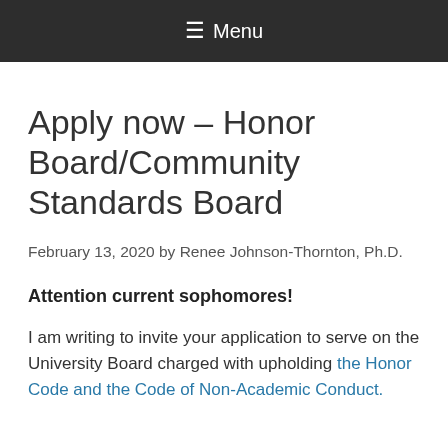≡ Menu
Apply now – Honor Board/Community Standards Board
February 13, 2020 by Renee Johnson-Thornton, Ph.D.
Attention current sophomores!
I am writing to invite your application to serve on the University Board charged with upholding the Honor Code and the Code of Non-Academic Conduct.